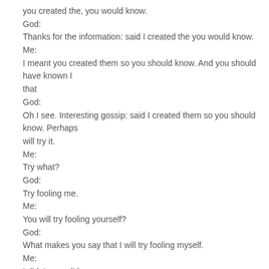you created the, you would know.
God:
Thanks for the information: said I created the you would know.
Me:
I meant you created them so you should know. And you should have known I that
God:
Oh I see. Interesting gossip: said I created them so you should know. Perhaps will try it.
Me:
Try what?
God:
Try fooling me.
Me:
You will try fooling yourself?
God:
What makes you say that I will try fooling myself.
Me:
I didn't, you did.
God:
Why didn't you do it?
Me:
Why didn't I say I'd fool you or why didn't I fool you?
God: